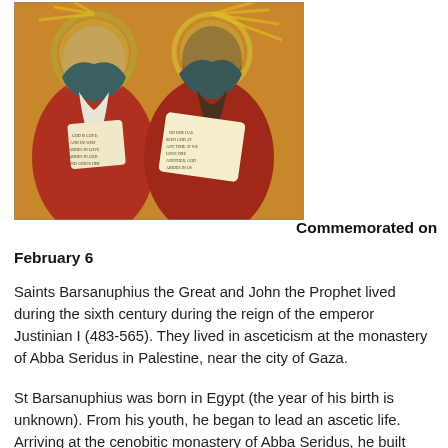[Figure (illustration): Orthodox Christian icon depicting two saints, Saints Barsanuphius the Great and John the Prophet, wearing red robes and head coverings with halos, each holding scrolls with text, set against a golden background.]
Commemorated on February 6
Saints Barsanuphius the Great and John the Prophet lived during the sixth century during the reign of the emperor Justinian I (483-565). They lived in asceticism at the monastery of Abba Seridus in Palestine, near the city of Gaza.
St Barsanuphius was born in Egypt (the year of his birth is unknown). From his youth, he began to lead an ascetic life. Arriving at the cenobitic monastery of Abba Seridus, he built